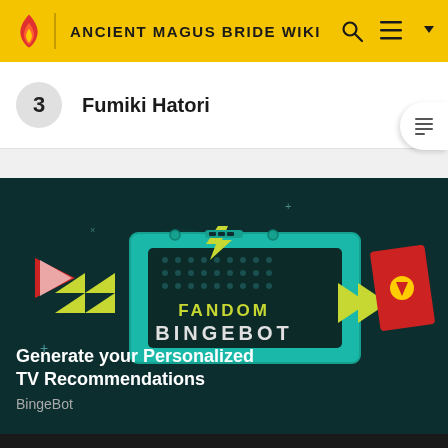ANCIENT MAGUS BRIDE WIKI
3  Fumiki Hatori
[Figure (illustration): Fandom BingeBot promotional banner with teal gaming-device graphic on dark teal/green background. Text reads 'FANDOM BINGEBOT' in center with yellow/green arrow graphics on left and right sides.]
Generate your Personalized TV Recommendations
BingeBot